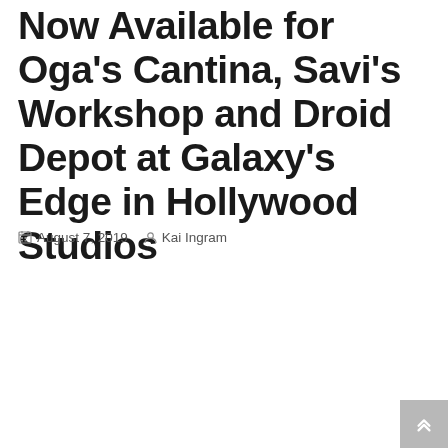Now Available for Oga's Cantina, Savi's Workshop and Droid Depot at Galaxy's Edge in Hollywood Studios
August 7, 2019  Kai Ingram